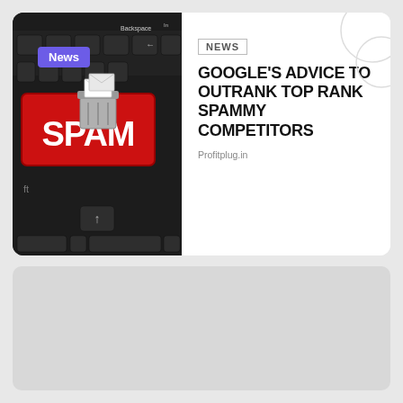[Figure (photo): Keyboard with a prominent red SPAM key and a trash can with envelope icons on top, representing email spam]
News
NEWS
GOOGLE'S ADVICE TO OUTRANK TOP RANK SPAMMY COMPETITORS
Profitplug.in